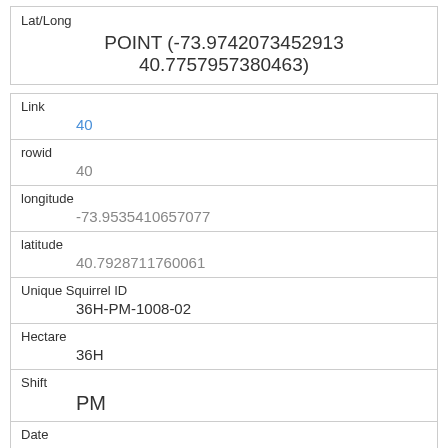| Field | Value |
| --- | --- |
| Lat/Long | POINT (-73.9742073452913 40.7757957380463) |
| Link | 40 |
| rowid | 40 |
| longitude | -73.9535410657077 |
| latitude | 40.7928711760061 |
| Unique Squirrel ID | 36H-PM-1008-02 |
| Hectare | 36H |
| Shift | PM |
| Date | 10082018 |
| Hectare Squirrel Number | 2 |